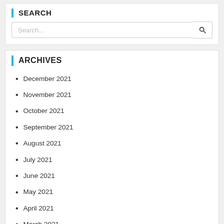SEARCH
Search...
ARCHIVES
December 2021
November 2021
October 2021
September 2021
August 2021
July 2021
June 2021
May 2021
April 2021
March 2021
February 2021
January 2021